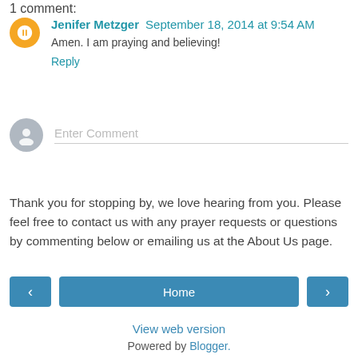1 comment:
Jenifer Metzger  September 18, 2014 at 9:54 AM
Amen. I am praying and believing!
Reply
[Figure (other): Enter Comment input field with gray avatar icon]
Thank you for stopping by, we love hearing from you. Please feel free to contact us with any prayer requests or questions by commenting below or emailing us at the About Us page.
‹  Home  ›
View web version
Powered by Blogger.